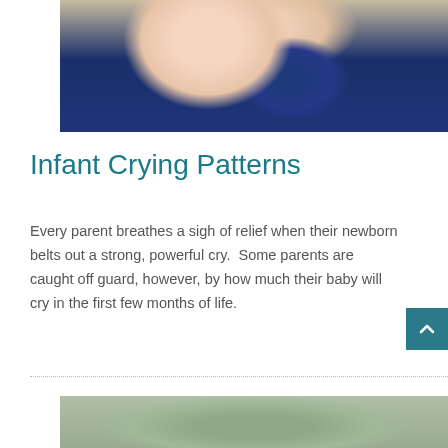[Figure (photo): A crying baby wearing a dark navy blue outfit, photographed from the chest up, with mouth wide open and one hand raised near face.]
Infant Crying Patterns
Every parent breathes a sigh of relief when their newborn belts out a strong, powerful cry.  Some parents are caught off guard, however, by how much their baby will cry in the first few months of life.
[Figure (photo): Partial view of a second photo at the bottom of the page, appears to show a baby or infant in a light-colored setting.]